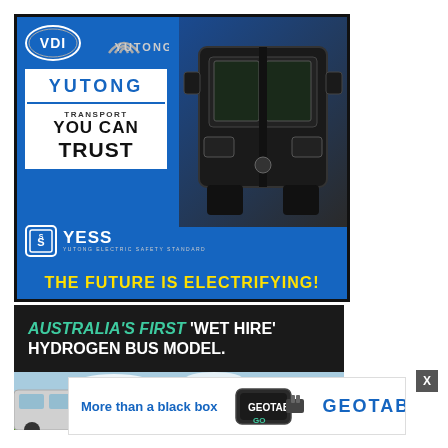[Figure (illustration): Yutong electric bus advertisement. Blue background with VDI and Yutong logos, a dark bus front view image, Yutong 'Transport You Can Trust' boxed text, YESS (Yutong Electric Safety Standard) badge, and yellow text 'THE FUTURE IS ELECTRIFYING!']
[Figure (illustration): Dark background advertisement: 'AUSTRALIA'S FIRST WET HIRE HYDROGEN BUS MODEL.' with a photo strip showing a bus in a field with sky background]
[Figure (illustration): Geotab advertisement banner: 'More than a black box' with Geotab GO device image and GEOTAB logo in blue]
X